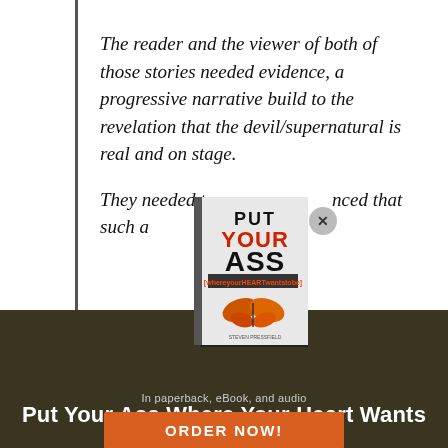The reader and the viewer of both of those stories needed evidence, a progressive narrative build to the revelation that the devil/supernatural is real and on stage.
They needed to be convinced that such a being could...
[Figure (photo): Book cover popup overlay showing 'Put Your Ass (where your heart wants to be)' book with butterfly image, with a close X button]
[Figure (photo): Dark background image of a large book cover design with text 'ASS (whereyourNEEDwantstobe)']
Put Your Ass Where Your Heart Wants to Be
In paperback, eBook, and audio
ORDER NOW!